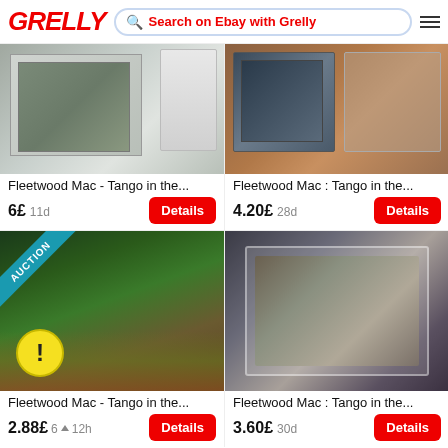GRELLY | Search on Ebay with Grelly
[Figure (photo): Fleetwood Mac Tango in the Night CD/vinyl product image top left]
Fleetwood Mac - Tango in the...
6£ 11d Details
[Figure (photo): Fleetwood Mac Tango in the Night CD product image top right]
Fleetwood Mac : Tango in the...
4.20£ 28d Details
[Figure (photo): Fleetwood Mac Tango in the Night LP vinyl with AUCTION badge and warning icon bottom left]
Fleetwood Mac - Tango in the...
2.88£ 6 bids 12h Details
[Figure (photo): Fleetwood Mac Tango in the Night CD in case bottom right]
Fleetwood Mac : Tango in the...
3.60£ 30d Details